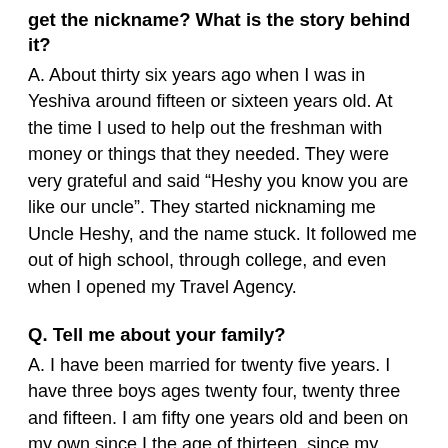get the nickname? What is the story behind it?
A. About thirty six years ago when I was in Yeshiva around fifteen or sixteen years old. At the time I used to help out the freshman with money or things that they needed. They were very grateful and said “Heshy you know you are like our uncle”. They started nicknaming me Uncle Heshy, and the name stuck. It followed me out of high school, through college, and even when I opened my Travel Agency.
Q. Tell me about your family?
A. I have been married for twenty five years. I have three boys ages twenty four, twenty three and fifteen. I am fifty one years old and been on my own since I the age of thirteen, since my father died.
Q. Tell me about your travel business?
A. I graduated in Computers, and bought my first travel